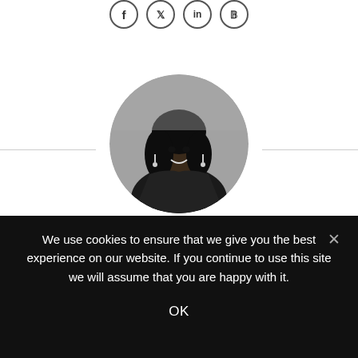[Figure (other): Social media icons (Facebook, Twitter, LinkedIn, Pinterest) as circles at top of page]
[Figure (photo): Circular black-and-white profile photo of Elizabeth Nabagerekka, a woman smiling outdoors]
Elizabeth Nabagerekka
Elizabeth is a graduate with a Bachelor’s degree in Environmental Design. Her educational background
We use cookies to ensure that we give you the best experience on our website. If you continue to use this site we will assume that you are happy with it.
OK